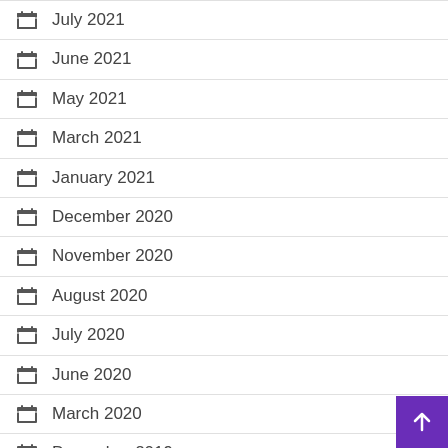July 2021
June 2021
May 2021
March 2021
January 2021
December 2020
November 2020
August 2020
July 2020
June 2020
March 2020
December 2019
August 2019